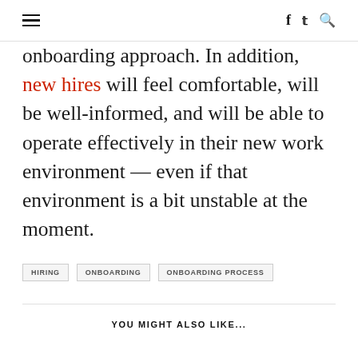≡  f  🐦  🔍
onboarding approach. In addition, new hires will feel comfortable, will be well-informed, and will be able to operate effectively in their new work environment — even if that environment is a bit unstable at the moment.
HIRING
ONBOARDING
ONBOARDING PROCESS
YOU MIGHT ALSO LIKE...